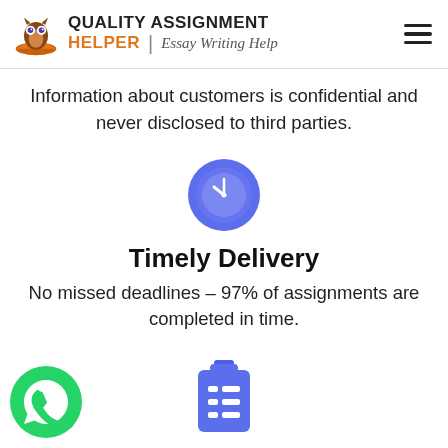[Figure (logo): Quality Assignment Helper logo with owl icon and script text]
Information about customers is confidential and never disclosed to third parties.
[Figure (illustration): Blue circle clock icon representing timely delivery]
Timely Delivery
No missed deadlines – 97% of assignments are completed in time.
[Figure (illustration): Green WhatsApp phone icon at bottom left]
[Figure (illustration): Blue clipboard checklist icon at bottom center]